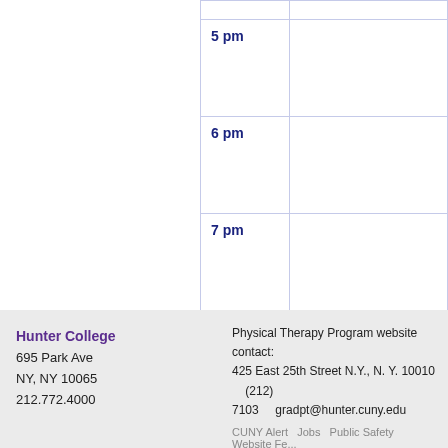| Time | Event |
| --- | --- |
| 5 pm |  |
| 6 pm |  |
| 7 pm |  |
<< previous day
January 1
Hunter College
695 Park Ave
NY, NY 10065
212.772.4000
Physical Therapy Program website contact:
425 East 25th Street N.Y., N. Y. 10010     (212) 7103      gradpt@hunter.cuny.edu
CUNY Alert   Jobs   Public Safety   Website Fe...
Disclaimer   Privacy Policy   CUNY Tobacco Poli...
About Hunter   Academics   Admissions   O...
Students   Libraries   Research   Make a Gi...